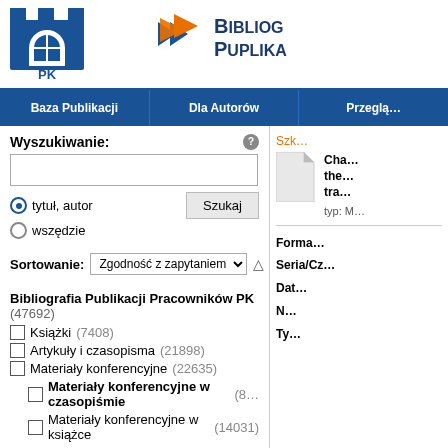[Figure (logo): PK (Politechnika Krakowska) castle/arch logo in blue]
[Figure (logo): Orange arrows logo with BIBLIOG PUBLIKA text in dark blue]
Baza Publikacji | Dla Autorów | Przeglą
Wyszukiwanie:
tytuł, autor
wszędzie
Szukaj
Sortowanie: Zgodność z zapytaniem
Bibliografia Publikacji Pracowników PK (47692)
Książki (7408)
Artykuły i czasopisma (21898)
Materiały konferencyjne (22635)
Materiały konferencyjne w czasopiśmie (8...)
Materiały konferencyjne w książce (14031)
Szk...
Cha... the... tra...
typ: M
Forma
Seria/Cz...
Dat...
N...
Ty...